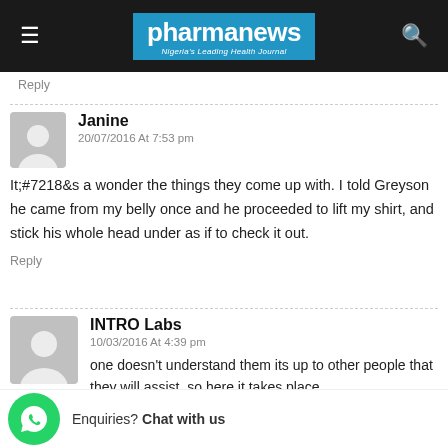pharmanews — Nigeria's Leading Health Journal
Reply
Janine
20/07/2016 At 7:53 pm
It;#7218&s a wonder the things they come up with. I told Greyson he came from my belly once and he proceeded to lift my shirt, and stick his whole head under as if to check it out.
Reply
INTRO Labs
10/03/2016 At 4:39 pm
...one doesn't understand them its up to other people that they will assist, so here it takes place.